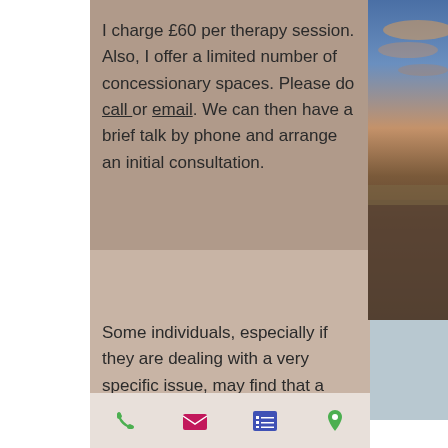I charge £60 per therapy session. Also, I offer a limited number of concessionary spaces. Please do call or email. We can then have a brief talk by phone and arrange an initial consultation.
[Figure (photo): Photo of a beach at sunset/dusk with cloudy sky on the right side of the page]
Some individuals, especially if they are dealing with a very specific issue, may find that a relatively short course of counselling is sufficient for their needs. I am able to offer short term counselling (6-12 sessions)
Phone, Email, List, Location icons